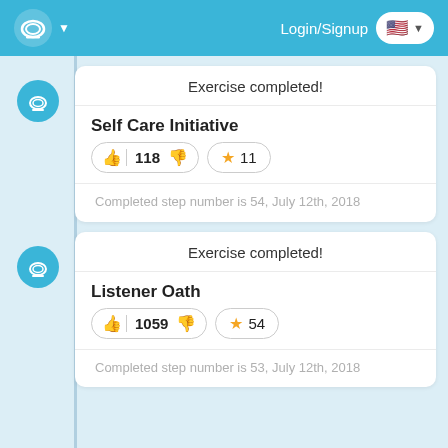Login/Signup
Exercise completed!
Self Care Initiative
👍 118 👎 ★ 11
Completed step number is 54, July 12th, 2018
Exercise completed!
Listener Oath
👍 1059 👎 ★ 54
Completed step number is 53, July 12th, 2018